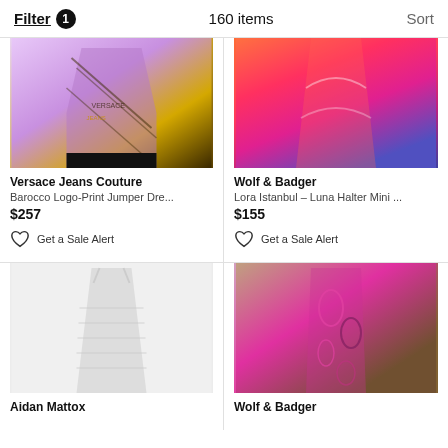Filter 1   160 items   Sort
[Figure (photo): Versace Jeans Couture Barocco Logo-Print Jumper Dress, purple and gold pattern]
Versace Jeans Couture
Barocco Logo-Print Jumper Dre...
$257
Get a Sale Alert
[Figure (photo): Wolf & Badger Lora Istanbul Luna Halter Mini dress, orange pink gradient]
Wolf & Badger
Lora Istanbul – Luna Halter Mini ...
$155
Get a Sale Alert
[Figure (photo): Aidan Mattox white ruched mini dress with spaghetti straps]
Aidan Mattox
[Figure (photo): Wolf & Badger pink and brown paisley print dress]
Wolf & Badger